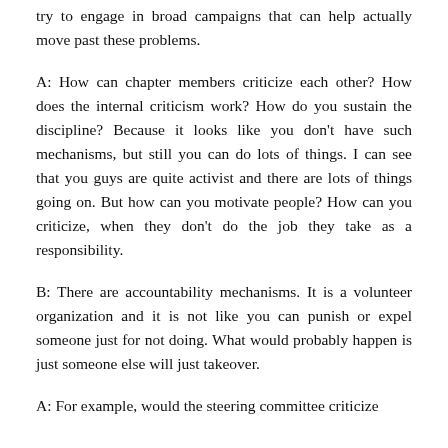try to engage in broad campaigns that can help actually move past these problems.
A: How can chapter members criticize each other? How does the internal criticism work? How do you sustain the discipline? Because it looks like you don't have such mechanisms, but still you can do lots of things. I can see that you guys are quite activist and there are lots of things going on. But how can you motivate people? How can you criticize, when they don't do the job they take as a responsibility.
B: There are accountability mechanisms. It is a volunteer organization and it is not like you can punish or expel someone just for not doing. What would probably happen is just someone else will just takeover.
A: For example, would the steering committee criticize